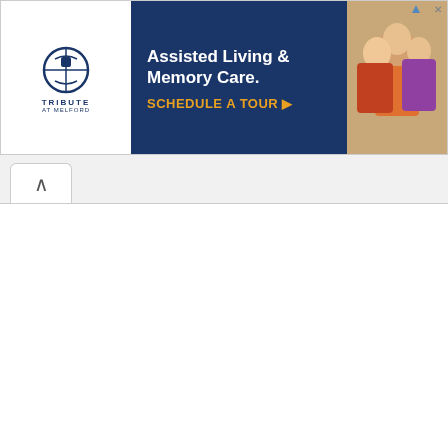[Figure (other): Advertisement banner for Tribute at Melford Assisted Living and Memory Care with schedule a tour CTA]
countries. For instance, Korea, Japan, and, in some cases, in Tibet, Buddhist priests are